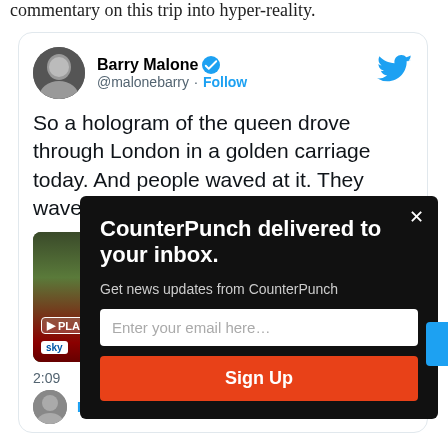commentary on this trip into hyper-reality.
[Figure (screenshot): Embedded tweet from Barry Malone (@malonebarry) with verified badge and Follow button. Tweet text: 'So a hologram of the queen drove through London in a golden carriage today. And people waved at it. They waved at a hologram.' Tweet includes an embedded video thumbnail. Timestamp shown as 2:09. A popup modal overlays the tweet: 'CounterPunch delivered to your inbox. Get news updates from CounterPunch' with an email input field and Sign Up button. A blue tab appears on the right edge.]